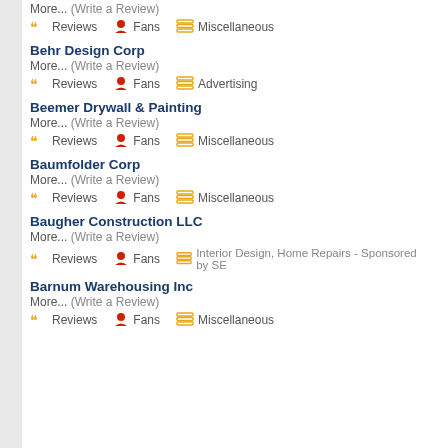More... (Write a Review)
Reviews | Fans | Miscellaneous
Behr Design Corp
More... (Write a Review)
Reviews | Fans | Advertising
Beemer Drywall & Painting
More... (Write a Review)
Reviews | Fans | Miscellaneous
Baumfolder Corp
More... (Write a Review)
Reviews | Fans | Miscellaneous
Baugher Construction LLC
More... (Write a Review)
Reviews | Fans | Interior Design, Home Repairs - Sponsored by SE
Barnum Warehousing Inc
More... (Write a Review)
Reviews | Fans | Miscellaneous